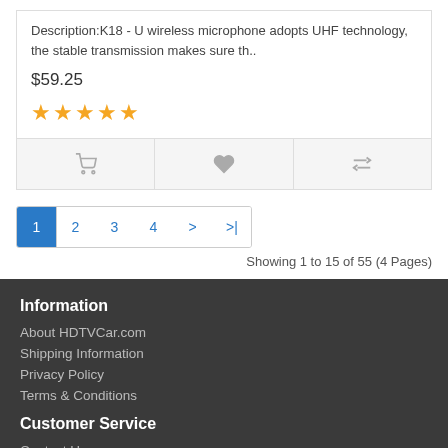Description:K18 - U wireless microphone adopts UHF technology, the stable transmission makes sure th..
$59.25
[Figure (other): Five gold star rating icons]
[Figure (other): Action bar with cart icon, heart/wishlist icon, and compare icon]
[Figure (other): Pagination bar with pages 1 (active), 2, 3, 4, >, >|]
Showing 1 to 15 of 55 (4 Pages)
Information
About HDTVCar.com
Shipping Information
Privacy Policy
Terms & Conditions
Customer Service
Contact Us